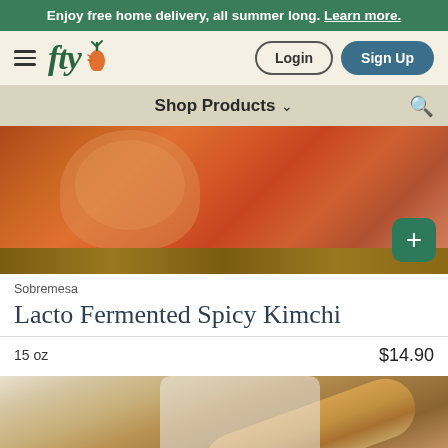Enjoy free home delivery, all summer long. Learn more.
[Figure (screenshot): FTY grocery delivery app navigation bar with hamburger menu, fty logo with carrot icon, Login and Sign Up buttons]
[Figure (screenshot): Shop Products dropdown bar with search icon]
[Figure (photo): Jar of kimchi on a wooden surface with a green add (+) button overlay]
Sobremesa
Lacto Fermented Spicy Kimchi
15 oz    $14.90
[Figure (photo): Baker in white uniform holding a baguette]